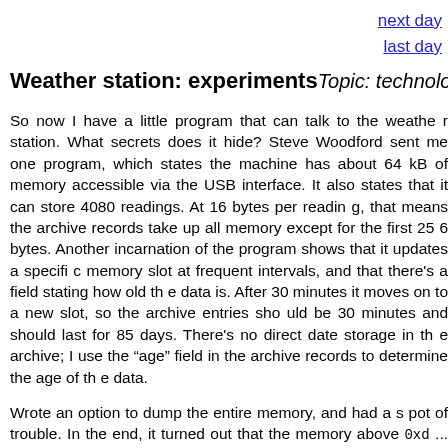next day
last day
Weather station: experiments
Topic: technology
So now I have a little program that can talk to the weather station. What secrets does it hide? Steve Woodford sent me one program, which states the machine has about 64 kB of memory accessible via the USB interface. It also states that it can store 4080 readings. At 16 bytes per reading, that means the archive records take up all memory except for the first 256 bytes. Another incarnation of the program shows that it updates a specific memory slot at frequent intervals, and that there's a field stating how old the data is. After 30 minutes it moves on to a new slot, so the archive entries should be 30 minutes and should last for 85 days. There's no direct date storage in the archive; I use the "age" field in the archive records to determine the age of the data.
Wrote an option to dump the entire memory, and had a spot of trouble. In the end, it turned out that the memory above 0xd... might make sense, since I haven't had the station for 85 days. If I understand the algorithm correctly, the current entry should have been at the end of the used space, and in fact it's round 0x1900. More head-scratching needed. It makes more sense to improve the program to the point where it works correctly and then look at the other things later.